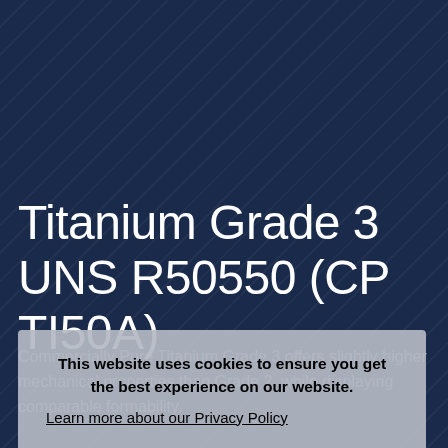Titanium Grade 3 UNS R50550 (CP TI50A)
Commercially Pure Titanium Grade 3 offers slightly higher mechanical properties than Grade 2, while displaying comparable formability. Learn more about our Privacy Policy
This website uses cookies to ensure you get the best experience on our website.
Learn more about our Privacy Policy
I Accept
DOWNLOAD DATASHEET